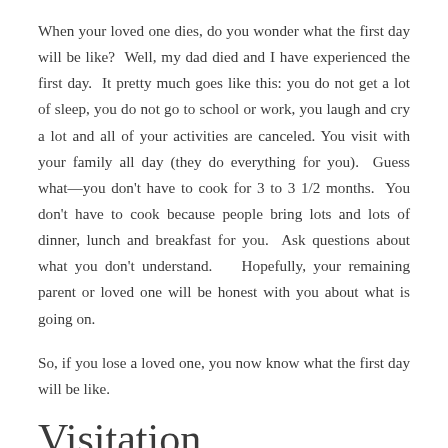When your loved one dies, do you wonder what the first day will be like?  Well, my dad died and I have experienced the first day.  It pretty much goes like this: you do not get a lot of sleep, you do not go to school or work, you laugh and cry a lot and all of your activities are canceled. You visit with your family all day (they do everything for you).  Guess what—you don't have to cook for 3 to 3 1/2 months.  You don't have to cook because people bring lots and lots of dinner, lunch and breakfast for you.  Ask questions about what you don't understand.   Hopefully, your remaining parent or loved one will be honest with you about what is going on.
So, if you lose a loved one, you now know what the first day will be like.
Visitation
Visitation is when all your family and friends come to tell you they're sorry for your loss.  They hug you and kiss you and